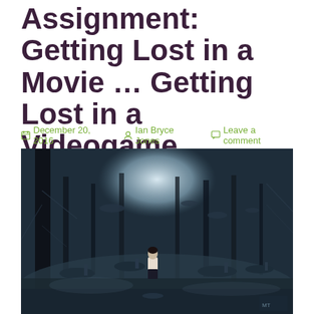Assignment: Getting Lost in a Movie … Getting Lost in a Videogame
December 20, 2016  Ian Bryce Jones  Leave a comment
[Figure (photo): A dark, foggy forest scene from a videogame showing a lone figure standing among tall trees and giant mushrooms, with a misty light source in the background.]